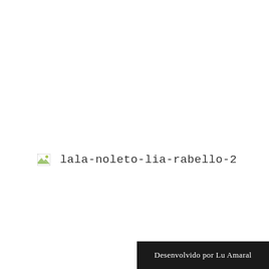[Figure (other): Broken image placeholder icon with alt text 'lala-noleto-lia-rabello-2']
Desenvolvido por Lu Amaral